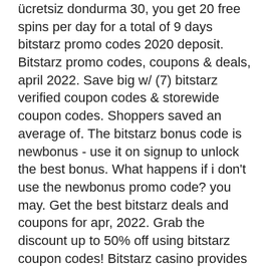ücretsiz dondurma 30, you get 20 free spins per day for a total of 9 days bitstarz promo codes 2020 deposit. Bitstarz promo codes, coupons &amp; deals, april 2022. Save big w/ (7) bitstarz verified coupon codes &amp; storewide coupon codes. Shoppers saved an average of. The bitstarz bonus code is newbonus - use it on signup to unlock the best bonus. What happens if i don't use the newbonus promo code? you may. Get the best bitstarz deals and coupons for apr, 2022. Grab the discount up to 50% off using bitstarz coupon codes! Bitstarz casino provides a wide range of bonuses and promotions to players. You can get 20 free spins no deposit on fruit zen or boomanji (. 0012 btc and get 20. Bitstarz bonus code 2021 bitstarz offers new players a huge 5btc welcome package plus 180 free spins to be used on slot games. No bonus code is required to. Everyone loves a promotion, and casino players are no different. Most online